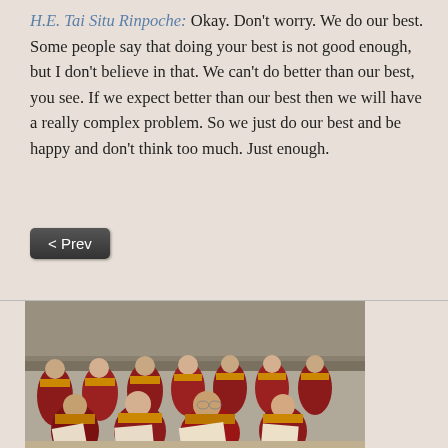H.E. Tai Situ Rinpoche: Okay. Don't worry. We do our best. Some people say that doing your best is not good enough, but I don't believe in that. We can't do better than our best, you see. If we expect better than our best then we will have a really complex problem. So we just do our best and be happy and don't think too much. Just enough.
[Figure (photo): Group of Buddhist monks in red and yellow robes sitting outdoors, reading texts, with stone steps or a temple structure in the background.]